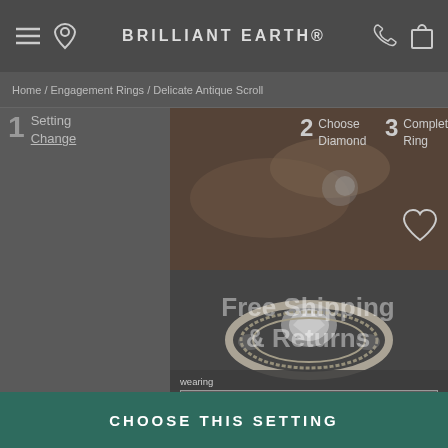BRILLIANT EARTH
Home / Engagement Rings / Delicate Antique Scroll
1 Setting Change
2 Choose Diamond
3 Complete Ring
[Figure (photo): Hands holding a diamond engagement ring, close-up photography]
[Figure (photo): Delicate Antique Scroll engagement ring with intricate filigree band, diamond center stone]
Free Shipping & Returns
Email Address
I'm interested in:
Engagement Rings
Wedding Rings
Fine Jewelry
CHOOSE THIS SETTING